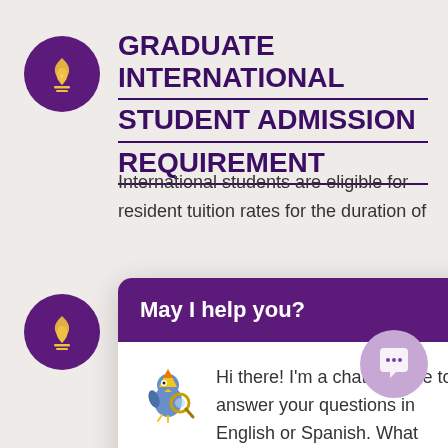[Figure (logo): Minnesota State University logo — purple circle with gold flame/torch icon]
GRADUATE INTERNATIONAL STUDENT ADMISSION REQUIREMENT
International students are eligible for resident tuition rates for the duration of their education on completing the very first...
[Figure (screenshot): Chatbot popup overlay with purple header reading 'May I help you?' with X close button, and chatbot message: 'Hi there! I'm a chatbot here to answer your questions in English or Spanish. What would you like to know?']
studies at Minnesota State University